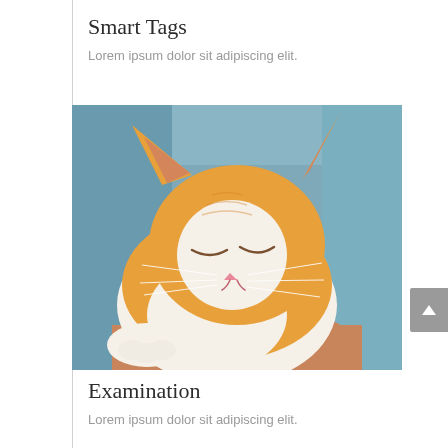Smart Tags
Lorem ipsum dolor sit adipiscing elit.
[Figure (photo): A sleeping orange and white kitten being held, eyes closed, against a blue fabric background.]
Examination
Lorem ipsum dolor sit adipiscing elit.